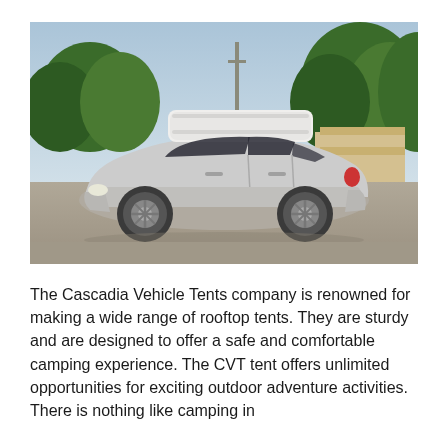[Figure (photo): A silver sedan car with a white rooftop cargo box/tent mounted on the roof, parked on a paved surface, with trees and a structure visible in the background.]
The Cascadia Vehicle Tents company is renowned for making a wide range of rooftop tents. They are sturdy and are designed to offer a safe and comfortable camping experience. The CVT tent offers unlimited opportunities for exciting outdoor adventure activities. There is nothing like camping in